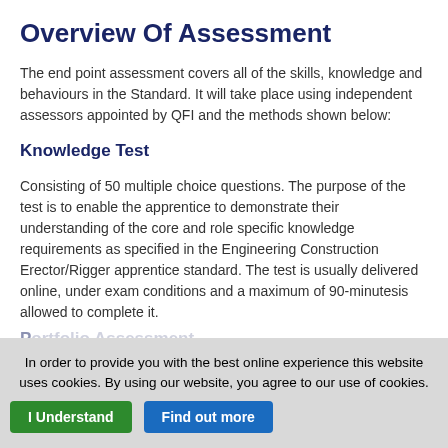Overview Of Assessment
The end point assessment covers all of the skills, knowledge and behaviours in the Standard. It will take place using independent assessors appointed by QFI and the methods shown below:
Knowledge Test
Consisting of 50 multiple choice questions. The purpose of the test is to enable the apprentice to demonstrate their understanding of the core and role specific knowledge requirements as specified in the Engineering Construction Erector/Rigger apprentice standard. The test is usually delivered online, under exam conditions and a maximum of 90-minutesis allowed to complete it.
In order to provide you with the best online experience this website uses cookies. By using our website, you agree to our use of cookies. I Understand  Find out more